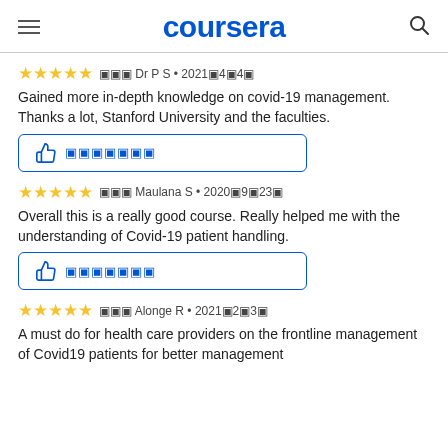coursera
★★★★★  ▣▣▣ Dr P S • 2021▣4▣4▣
Gained more in-depth knowledge on covid-19 management. Thanks a lot, Stanford University and the faculties.
▣▣▣▣▣▣▣
★★★★★  ▣▣▣ Maulana S • 2020▣9▣23▣
Overall this is a really good course. Really helped me with the understanding of Covid-19 patient handling.
▣▣▣▣▣▣▣
★★★★★  ▣▣▣ Alonge R • 2021▣2▣3▣
A must do for health care providers on the frontline management of Covid19 patients for better management